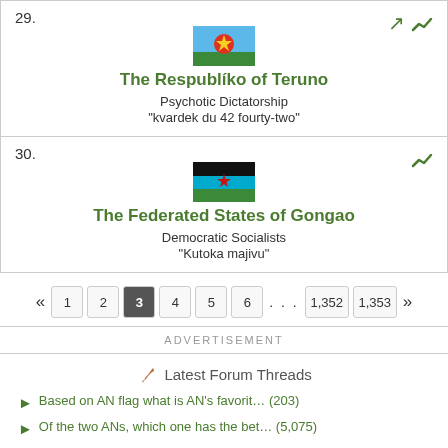29. The Respubliko of Teruno — Psychotic Dictatorship — "kvardek du 42 fourty-two"
30. The Federated States of Gongao — Democratic Socialists — "Kutoka majivu"
Pagination: « 1 2 3 4 5 6 ... 1,352 1,353 »
ADVERTISEMENT
Latest Forum Threads
Based on AN flag what is AN's favorit… (203)
Of the two ANs, which one has the bet… (5,075)